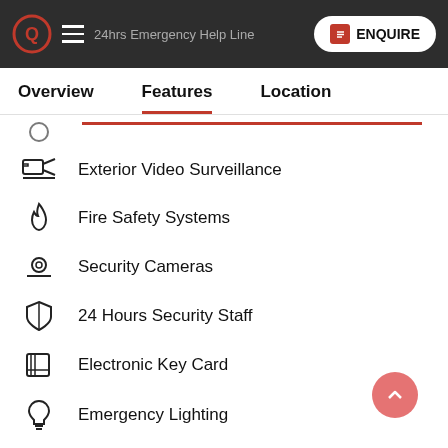24hrs Emergency Help Line | ENQUIRE
Overview   Features   Location
Exterior Video Surveillance
Fire Safety Systems
Security Cameras
24 Hours Security Staff
Electronic Key Card
Emergency Lighting
Fire Doors
Monitored Alarms